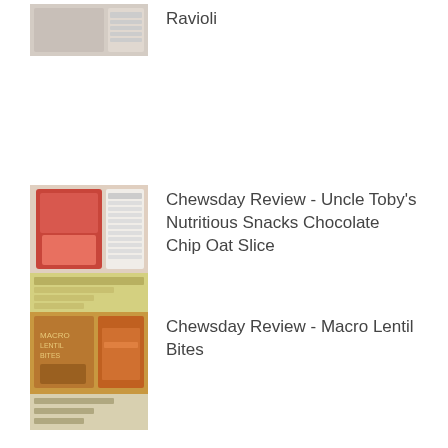[Figure (photo): Product thumbnail image for Ravioli post, partially visible at top]
Ravioli
[Figure (photo): Product thumbnail image for Uncle Toby's Nutritious Snacks Chocolate Chip Oat Slice]
Chewsday Review - Uncle Toby's Nutritious Snacks Chocolate Chip Oat Slice
[Figure (photo): Product thumbnail image for Macro Lentil Bites]
Chewsday Review - Macro Lentil Bites
Archive
May 2022 (3)
April 2022 (3)